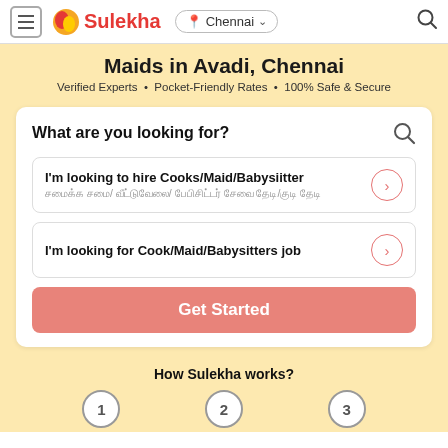Sulekha | Chennai
Maids in Avadi, Chennai
Verified Experts • Pocket-Friendly Rates • 100% Safe & Secure
What are you looking for?
I'm looking to hire Cooks/Maid/Babysiitter
I'm looking for Cook/Maid/Babysitters job
Get Started
How Sulekha works?
1  2  3